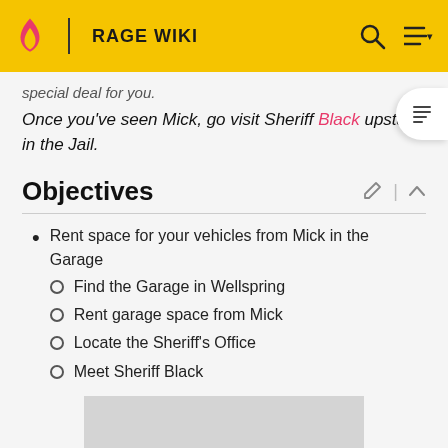RAGE WIKI
special deal for you.
Once you've seen Mick, go visit Sheriff Black upstairs in the Jail.
Objectives
Rent space for your vehicles from Mick in the Garage
Find the Garage in Wellspring
Rent garage space from Mick
Locate the Sheriff's Office
Meet Sheriff Black